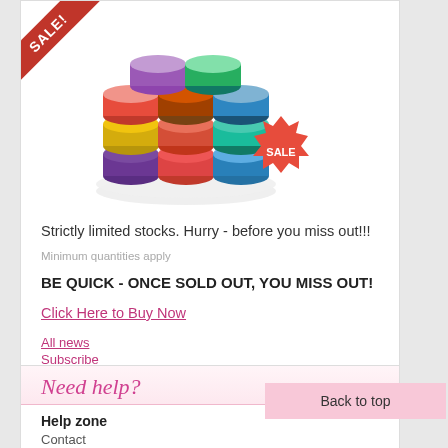[Figure (photo): Stack of colorful cosmetic nail gel jars with a red SALE diagonal banner in top-left corner and a red starburst SALE badge in bottom-right]
Strictly limited stocks. Hurry - before you miss out!!!
Minimum quantities apply
BE QUICK - ONCE SOLD OUT, YOU MISS OUT!
Click Here to Buy Now
All news
Subscribe
Need help?
Help zone
Contact